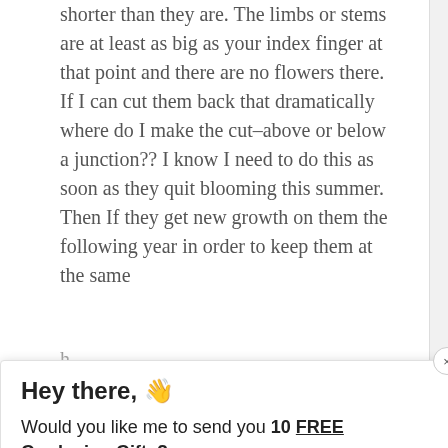shorter than they are. The limbs or stems are at least as big as your index finger at that point and there are no flowers there. If I can cut them back that dramatically where do I make the cut–above or below a junction?? I know I need to do this as soon as they quit blooming this summer. Then If they get new growth on them the following year in order to keep them at the same h...
[Figure (screenshot): A popup modal overlay with title 'Hey there, 👋', body text 'Would you like me to send you 10 FREE Gardening Gifts?', and an orange button labeled 'YES, PLEASE!'. A close (×) button is in the top right corner of the modal.]
[Figure (photo): Circular avatar photo of a man wearing glasses and a red shirt, positioned bottom left.]
JUNE 1, 2019 AT 11:32 PM